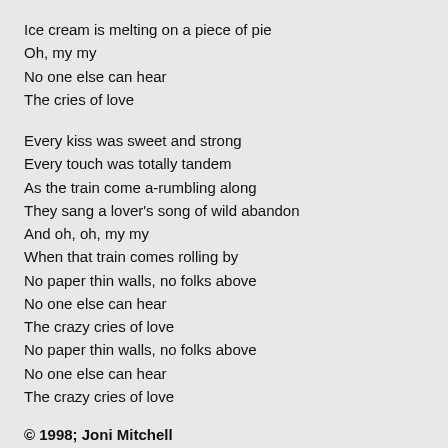Ice cream is melting on a piece of pie
Oh, my my
No one else can hear
The cries of love
Every kiss was sweet and strong
Every touch was totally tandem
As the train come a-rumbling along
They sang a lover's song of wild abandon
And oh, oh, my my
When that train comes rolling by
No paper thin walls, no folks above
No one else can hear
The crazy cries of love
No paper thin walls, no folks above
No one else can hear
The crazy cries of love
© 1998; Joni Mitchell